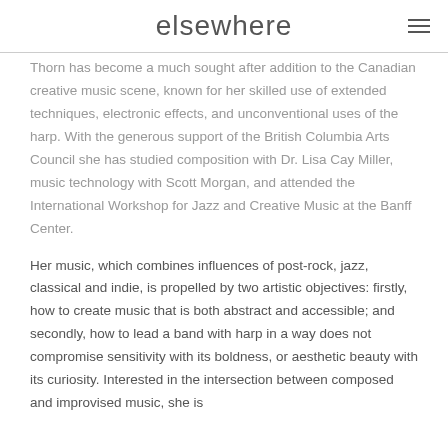elsewhere
Thorn has become a much sought after addition to the Canadian creative music scene, known for her skilled use of extended techniques, electronic effects, and unconventional uses of the harp. With the generous support of the British Columbia Arts Council she has studied composition with Dr. Lisa Cay Miller, music technology with Scott Morgan, and attended the International Workshop for Jazz and Creative Music at the Banff Center.
Her music, which combines influences of post-rock, jazz, classical and indie, is propelled by two artistic objectives: firstly, how to create music that is both abstract and accessible; and secondly, how to lead a band with harp in a way does not compromise sensitivity with its boldness, or aesthetic beauty with its curiosity. Interested in the intersection between composed and improvised music, she is